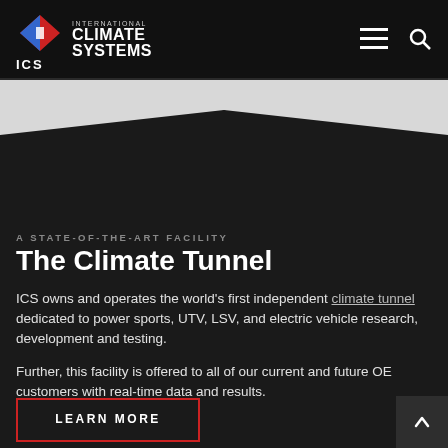[Figure (logo): ICS International Climate Systems logo with diamond shape (blue and red) and ICS text]
[Figure (illustration): Dark chevron/arrow shape pointing upward, against a light gray background]
A STATE-OF-THE-ART FACILITY
The Climate Tunnel
ICS owns and operates the world's first independent climate tunnel dedicated to power sports, UTV, LSV, and electric vehicle research, development and testing.
Further, this facility is offered to all of our current and future OE customers with real-time data and results.
LEARN MORE